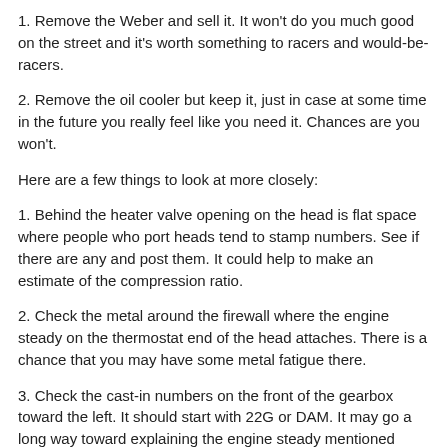1. Remove the Weber and sell it. It won't do you much good on the street and it's worth something to racers and would-be-racers.
2. Remove the oil cooler but keep it, just in case at some time in the future you really feel like you need it. Chances are you won't.
Here are a few things to look at more closely:
1. Behind the heater valve opening on the head is flat space where people who port heads tend to stamp numbers. See if there are any and post them. It could help to make an estimate of the compression ratio.
2. Check the metal around the firewall where the engine steady on the thermostat end of the head attaches. There is a chance that you may have some metal fatigue there.
3. Check the cast-in numbers on the front of the gearbox toward the left. It should start with 22G or DAM. It may go a long way toward explaining the engine steady mentioned above.
Here are a few odds-and-ends:
The brake master cylinder looks like an original Cooper 'S' type (NOS before it was put on the car). Change the brake fluid and check the rear wheel cylinders, not necessarily in that order. It could save you a lot of work in the future.
The seat in the car has a Karobe seat cover on it. I find them very comfortable and like the way they work. If you decide you don't want it